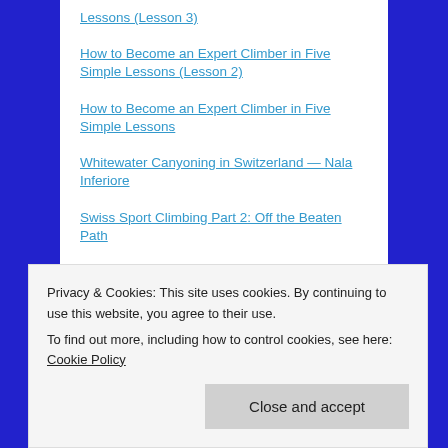Lessons (Lesson 3)
How to Become an Expert Climber in Five Simple Lessons (Lesson 2)
How to Become an Expert Climber in Five Simple Lessons
Whitewater Canyoning in Switzerland — Nala Inferiore
Swiss Sport Climbing Part 2: Off the Beaten Path
High Wire Act: VF Murren
Klettersteig on the Flank of the Eiger
Swiss Sport Climbing Part 1: The Giants
Privacy & Cookies: This site uses cookies. By continuing to use this website, you agree to their use. To find out more, including how to control cookies, see here: Cookie Policy